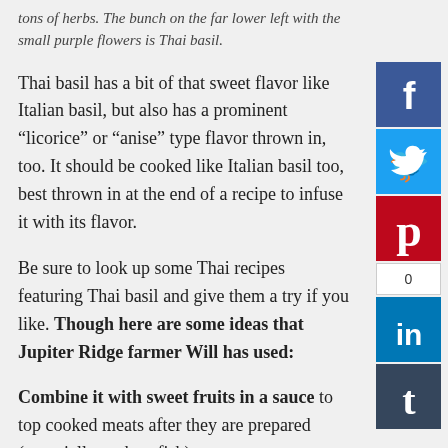tons of herbs. The bunch on the far lower left with the small purple flowers is Thai basil.
Thai basil has a bit of that sweet flavor like Italian basil, but also has a prominent “licorice” or “anise” type flavor thrown in, too. It should be cooked like Italian basil too, best thrown in at the end of a recipe to infuse it with its flavor.
Be sure to look up some Thai recipes featuring Thai basil and give them a try if you like. Though here are some ideas that Jupiter Ridge farmer Will has used:
Combine it with sweet fruits in a sauce to top cooked meats after they are prepared (especially pork or fish), or even as a marinade. Will has paired Thai basil with plum and it’s a flavorful match made